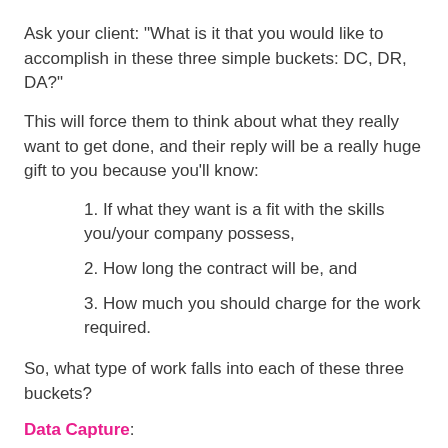Ask your client: "What is it that you would like to accomplish in these three simple buckets: DC, DR, DA?"
This will force them to think about what they really want to get done, and their reply will be a really huge gift to you because you'll know:
1. If what they want is a fit with the skills you/your company possess,
2. How long the contract will be, and
3. How much you should charge for the work required.
So, what type of work falls into each of these three buckets?
Data Capture: